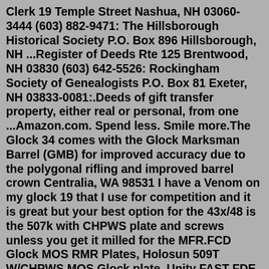Clerk 19 Temple Street Nashua, NH 03060-3444 (603) 882-9471: The Hillsborough Historical Society P.O. Box 896 Hillsborough, NH ...Register of Deeds Rte 125 Brentwood, NH 03830 (603) 642-5526: Rockingham Society of Genealogists P.O. Box 81 Exeter, NH 03833-0081:.Deeds of gift transfer property, either real or personal, from one ...Amazon.com. Spend less. Smile more.The Glock 34 comes with the Glock Marksman Barrel (GMB) for improved accuracy due to the polygonal rifling and improved barrel crown Centralia, WA 98531 I have a Venom on my glock 19 that I use for competition and it is great but your best option for the 43x/48 is the 507k with CHPWS plate and screws unless you get it milled for the MFR.FCD Glock MOS RMR Plates, Holosun 509T W/CHPWS MOS Glock plate, Unity FAST FDE Micro mount. Marksman14. Marksman14 Replies: 3 Views: 383 8/26/2022 9:37 PM ... The screws mounting the plate to the slide have room to allow the plate to move. Witness marks have been placed on the screws to prevent movement. North...